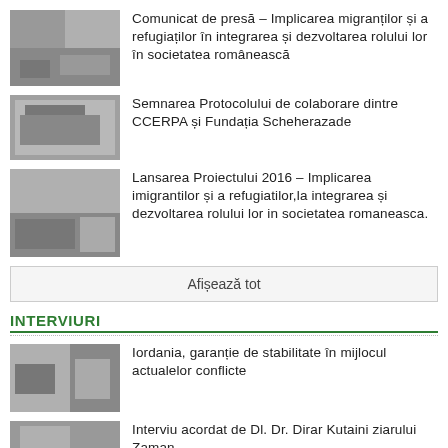Comunicat de presă – Implicarea migranților și a refugiaților în integrarea și dezvoltarea rolului lor în societatea românească
Semnarea Protocolului de colaborare dintre CCERPA și Fundația Scheherazade
Lansarea Proiectului 2016 – Implicarea imigrantilor și a refugiatilor,la integrarea și dezvoltarea rolului lor in societatea romaneasca.
Afișează tot
INTERVIURI
Iordania, garanție de stabilitate în mijlocul actualelor conflicte
Interviu acordat de Dl. Dr. Dirar Kutaini ziarului Zaman